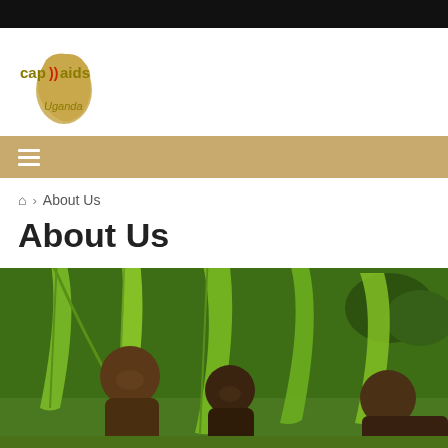[Figure (logo): CAP AIDS Uganda logo with Africa continent silhouette in gold/tan color and text 'cap))aids Uganda']
≡ (navigation menu icon)
🏠 > About Us
About Us
[Figure (photo): Photo of people standing among banana/tropical plants in Uganda]